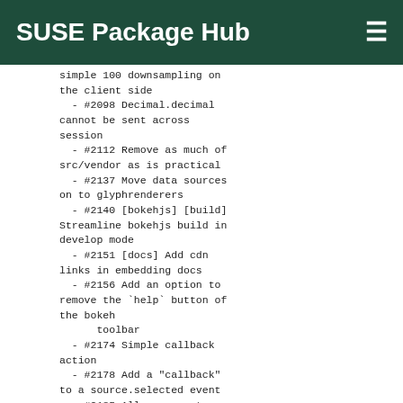SUSE Package Hub
simple 100 downsampling on the client side
    - #2098 Decimal.decimal cannot be sent across session
    - #2112 Remove as much of src/vendor as is practical
    - #2137 Move data sources on to glyphrenderers
    - #2140 [bokehjs] [build] Streamline bokehjs build in develop mode
    - #2151 [docs] Add cdn links in embedding docs
    - #2156 Add an option to remove the `help` button of the bokeh
        toolbar
    - #2174 Simple callback action
    - #2178 Add a "callback" to a source.selected event
    - #2185 Allow users to specify a desired number of ticks
    - #2207 [docs] User guide rewrite
    - #2275 [examples] Initial commit of color_sliders.py
  * tasks:
    - #1751 Remove pinned packages
    - #2038 [bokehjs] [build] What is the best way to